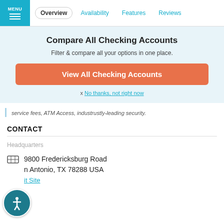MENU | Overview | Availability | Features | Reviews
Compare All Checking Accounts
Filter & compare all your options in one place.
View All Checking Accounts
x No thanks, not right now
service fees, ATM Access, industrustly-leading security.
CONTACT
Headquarters
9800 Fredericksburg Road
n Antonio, TX 78288 USA
it Site